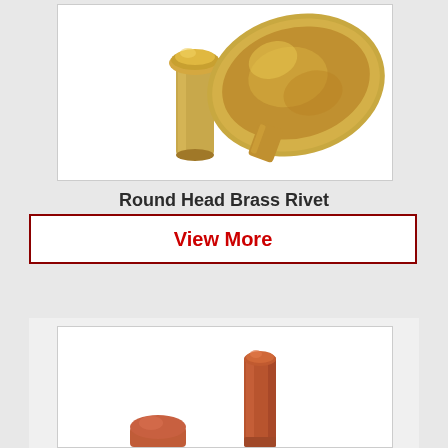[Figure (photo): Two brass rivets on white background - one showing the shank/head side and one showing the peened/flattened end]
Round Head Brass Rivet
View More
[Figure (photo): Copper rivet partially visible at bottom of page, showing cylindrical shank on white background]